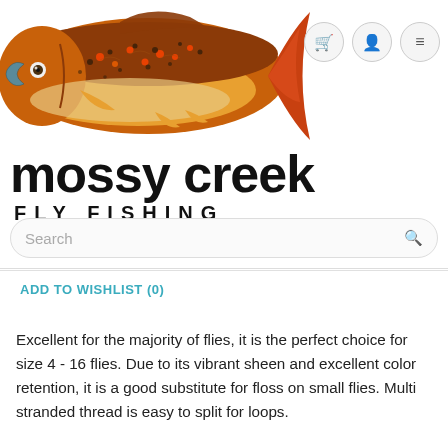[Figure (logo): Mossy Creek Fly Fishing logo with a brown trout fish illustration above the text 'mossy creek FLY FISHING']
Search
ADD TO WISHLIST (0)
Excellent for the majority of flies, it is the perfect choice for size 4 - 16 flies. Due to its vibrant sheen and excellent color retention, it is a good substitute for floss on small flies. Multi stranded thread is easy to split for loops.